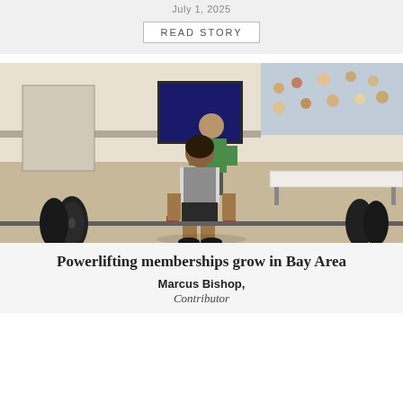July 1, 2025
READ STORY
[Figure (photo): A young male powerlifter in a gym setting crouches down gripping a barbell loaded with large weight plates, wearing a lifting suit and wrist wraps. A coach in a green shirt stands behind him observing. Spectators and tables are visible in the background.]
Powerlifting memberships grow in Bay Area
Marcus Bishop, Contributor